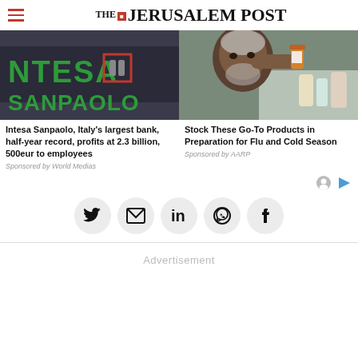THE JERUSALEM POST
[Figure (photo): Intesa Sanpaolo bank sign with green letters and logo]
[Figure (photo): Black man examining medicine bottle, health/pharmacy theme]
Intesa Sanpaolo, Italy’s largest bank, half-year record, profits at 2.3 billion, 500eur to employees
Sponsored by World Medias
Stock These Go-To Products in Preparation for Flu and Cold Season
Sponsored by AARP
[Figure (infographic): Social sharing icons row: Twitter, Email, LinkedIn, WhatsApp, Facebook]
Advertisement